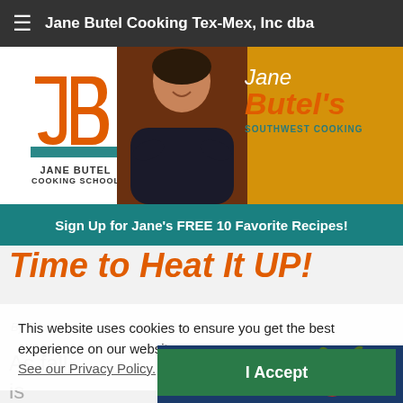Jane Butel Cooking Tex-Mex, Inc dba
[Figure (screenshot): Jane Butel's Southwest Cooking website header banner with logo, photo of Jane Butel, and branding text]
Sign Up for Jane's FREE 10 Favorite Recipes!
Time to Heat It UP!
By Jane Butel October 14, 2020
This website uses cookies to ensure you get the best experience on our website.
See our Privacy Policy.
I Accept
As fall
is